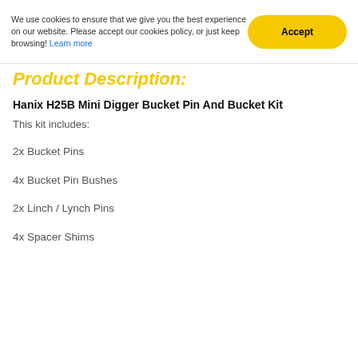We use cookies to ensure that we give you the best experience on our website. Please accept our cookies policy, or just keep browsing! Learn more
Accept
Product Description:
Hanix H25B Mini Digger Bucket Pin And Bucket Kit
This kit includes:
2x Bucket Pins
4x Bucket Pin Bushes
2x Linch / Lynch Pins
4x Spacer Shims